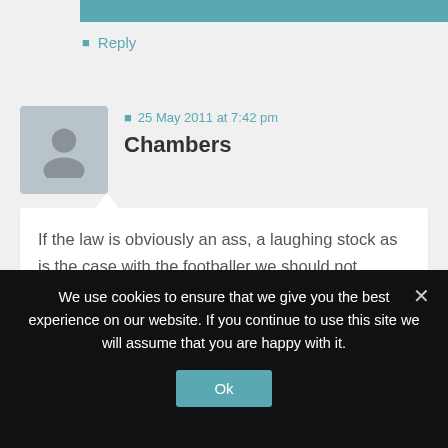↩ Reply
↩ 25 May 2011 at 7:42 pm
Chambers
If the law is obviously an ass, a laughing stock as is the case with the footballer we should not mention, then to blame John Hemming MP is a futile exercise in shifting blame.
We use cookies to ensure that we give you the best experience on our website. If you continue to use this site we will assume that you are happy with it.